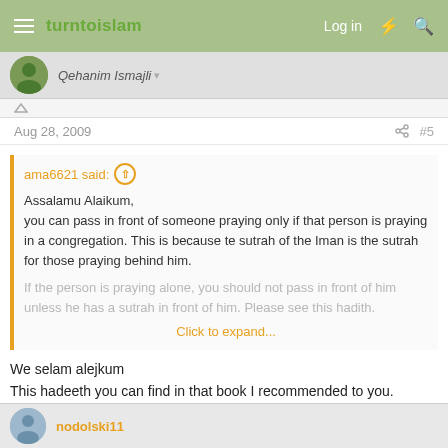turntoislam — Log in
Qehanim Ismajli
Aug 28, 2009    #5
ama6621 said: ↑

Assalamu Alaikum,
you can pass in front of someone praying only if that person is praying in a congregation. This is because te sutrah of the Iman is the sutrah for those praying behind him.

If the person is praying alone, you should not pass in front of him unless he has a sutrah in front of him. Please see this hadith.

Click to expand...
We selam alejkum
This hadeeth you can find in that book I recommended to you.
ama6621 I thank you so much ,May ALL-LLAH reward you.
We selam alejkum to all of you
nodolski11